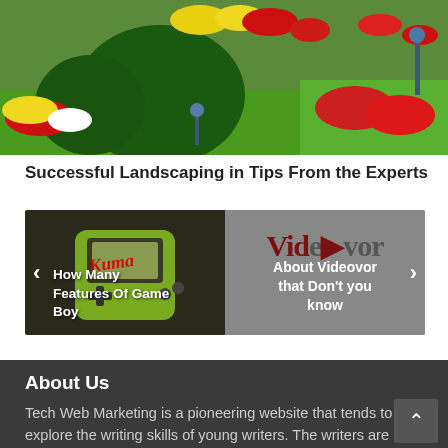[Figure (photo): Garden photo showing colorful flower beds with red, yellow, and white flowers, green shrubs and trees on a bright green lawn.]
Successful Landscaping in Tips From the Experts
[Figure (screenshot): A content slider showing two panels: left panel shows a Game Boy image with text 'How Many Features Of Game Boy', right panel shows the Videovor logo with text 'About Videovor that Don't you know'. Navigation arrows on each side.]
About Us
Tech Web Marketing is a pioneering website that tends to explore the writing skills of young writers. The writers are encouraged to put their